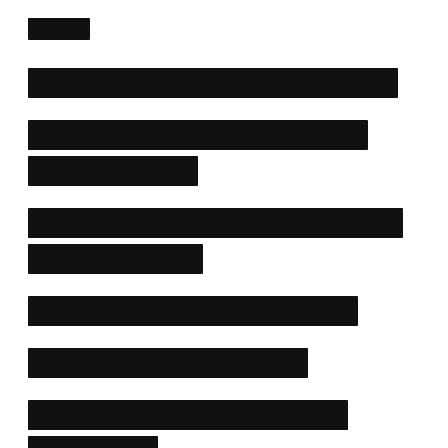[redacted line 1]
[redacted line 2]
[redacted lines 3-4]
[redacted lines 5-6]
[redacted line 7]
[redacted line 8]
[redacted lines 9-10]